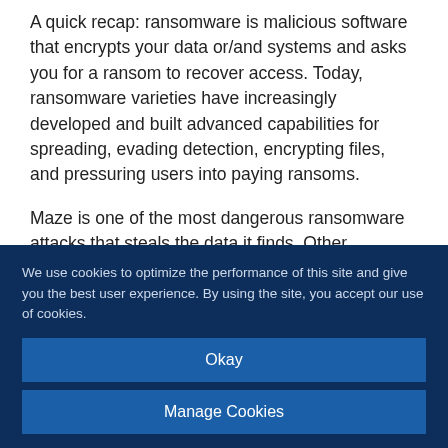A quick recap: ransomware is malicious software that encrypts your data or/and systems and asks you for a ransom to recover access. Today, ransomware varieties have increasingly developed and built advanced capabilities for spreading, evading detection, encrypting files, and pressuring users into paying ransoms.
Maze is one of the most dangerous ransomware attacks that steals the data it finds. Other ransomware families such as REvil, also known as Sodinokibi, have followed afterward continuing through...
We use cookies to optimize the performance of this site and give you the best user experience. By using the site, you accept our use of cookies.
Okay
Manage Cookies